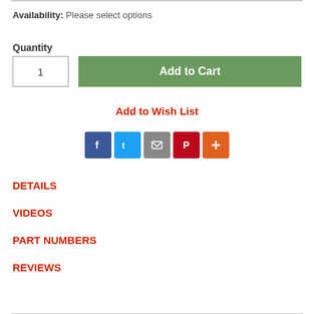Availability: Please select options
Quantity
1
Add to Cart
Add to Wish List
[Figure (infographic): Social share icons: Facebook (blue), Twitter (light blue), Email (gray), Pinterest (red), More/Plus (orange)]
DETAILS
VIDEOS
PART NUMBERS
REVIEWS